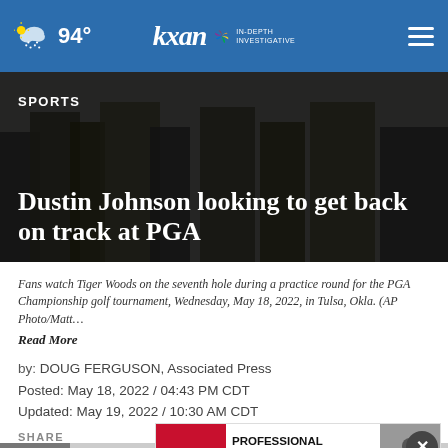94° kxan IN-DEPTH INVESTIGATIVE
SPORTS
Dustin Johnson looking to get back on track at PGA
Fans watch Tiger Woods on the seventh hole during a practice round for the PGA Championship golf tournament, Wednesday, May 18, 2022, in Tulsa, Okla. (AP Photo/Matt… Read More
by: DOUG FERGUSON, Associated Press
Posted: May 18, 2022 / 04:43 PM CDT
Updated: May 19, 2022 / 10:30 AM CDT
SHARE
[Figure (infographic): Advertisement banner for The Steam Team Professional Home Cleaning Services with a Contact Us button]